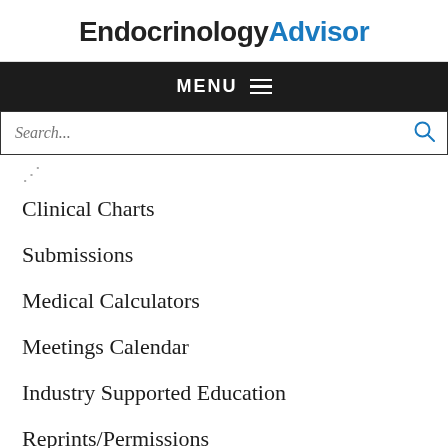EndocrinologyAdvisor
MENU
Search...
Clinical Charts
Submissions
Medical Calculators
Meetings Calendar
Industry Supported Education
Reprints/Permissions
SITE INFORMATION